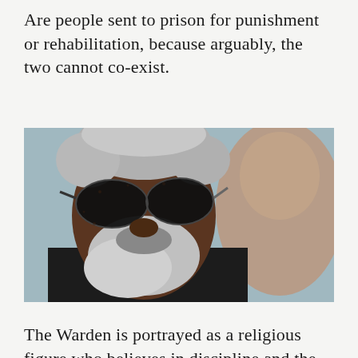Are people sent to prison for punishment or rehabilitation, because arguably, the two cannot co-exist.
[Figure (photo): Close-up portrait of an older man wearing dark aviator sunglasses, with grey hair and beard, looking slightly downward. Another blurred figure is visible in the background to the right.]
The Warden is portrayed as a religious figure who believes in discipline and the Bible;